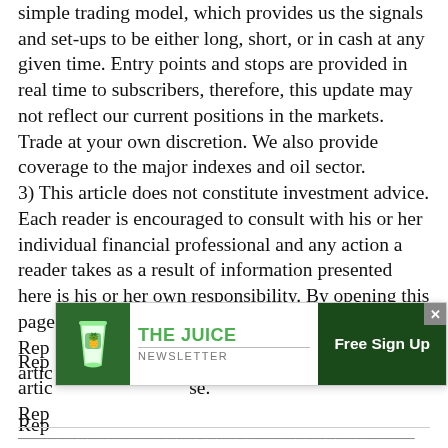simple trading model, which provides us the signals and set-ups to be either long, short, or in cash at any given time. Entry points and stops are provided in real time to subscribers, therefore, this update may not reflect our current positions in the markets. Trade at your own discretion. We also provide coverage to the major indexes and oil sector. 3) This article does not constitute investment advice. Each reader is encouraged to consult with his or her individual financial professional and any action a reader takes as a result of information presented here is his or her own responsibility. By opening this page, each reader accepts and agrees to Streetwise Rep[orts'] terms of use and full disclaimer. This artic[le is available at no cost to all readers as a Streetwise] Rep[orts public service.]
[Figure (other): Advertisement banner for 'The Juice Newsletter' with green smoothie cup icon, green title text, and a dark green 'Free Sign Up' button. Has an X close button in top right corner.]